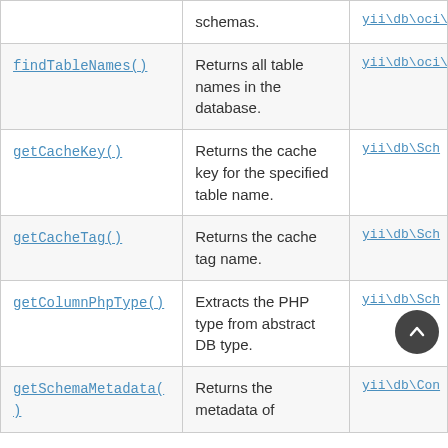| Method | Description | Defined By |
| --- | --- | --- |
| (continued from above) | schemas. | yii\db\oci\... |
| findTableNames() | Returns all table names in the database. | yii\db\oci\... |
| getCacheKey() | Returns the cache key for the specified table name. | yii\db\Sch... |
| getCacheTag() | Returns the cache tag name. | yii\db\Sch... |
| getColumnPhpType() | Extracts the PHP type from abstract DB type. | yii\db\Sch... |
| getSchemaMetadata() | Returns the metadata of... | yii\db\Con... |